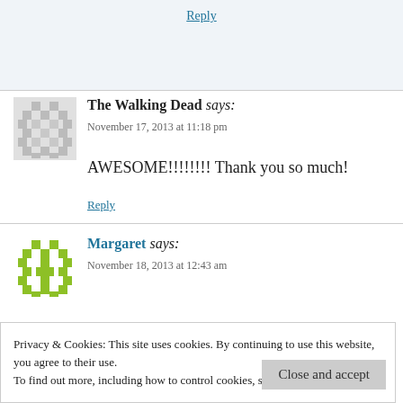Reply
The Walking Dead says: November 17, 2013 at 11:18 pm
AWESOME!!!!!!!! Thank you so much!
Reply
Margaret says: November 18, 2013 at 12:43 am
Privacy & Cookies: This site uses cookies. By continuing to use this website, you agree to their use. To find out more, including how to control cookies, see here: Cookie Policy
Close and accept
-Could not the IOM terminate the contract a